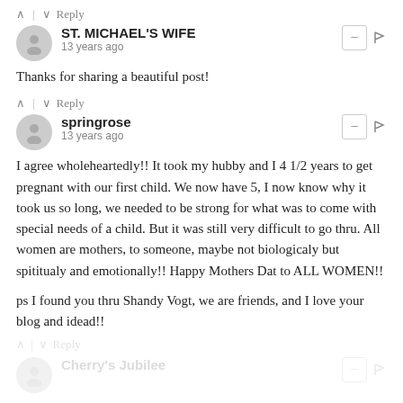^ | v Reply
ST. MICHAEL'S WIFE
13 years ago
Thanks for sharing a beautiful post!
^ | v Reply
springrose
13 years ago
I agree wholeheartedly!! It took my hubby and I 4 1/2 years to get pregnant with our first child. We now have 5, I now know why it took us so long, we needed to be strong for what was to come with special needs of a child. But it was still very difficult to go thru. All women are mothers, to someone, maybe not biologicaly but spitualy and emotionally!! Happy Mothers Dat to ALL WOMEN!!
ps I found you thru Shandy Vogt, we are friends, and I love your blog and idead!!
^ | v Reply
Cherry's Jubilee